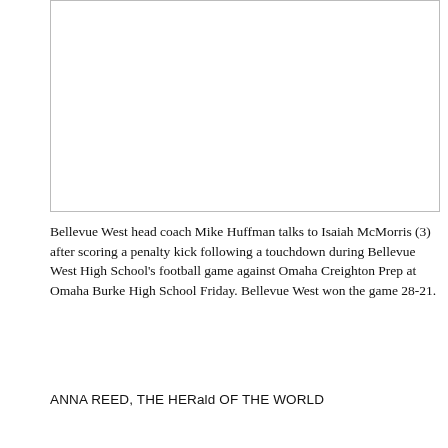[Figure (photo): Photo placeholder box showing Bellevue West head coach Mike Huffman talking to Isaiah McMorris (3) after scoring a penalty kick following a touchdown.]
Bellevue West head coach Mike Huffman talks to Isaiah McMorris (3) after scoring a penalty kick following a touchdown during Bellevue West High School's football game against Omaha Creighton Prep at Omaha Burke High School Friday. Bellevue West won the game 28-21.
ANNA REED, THE HERald OF THE WORLD